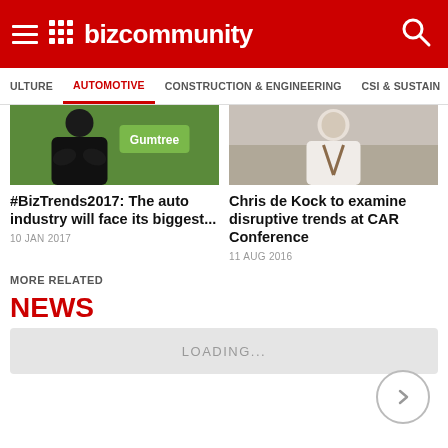BizCommunity
AUTOMOTIVE
[Figure (photo): Person in black polo shirt with Gumtree sign behind]
#BizTrends2017: The auto industry will face its biggest...
10 JAN 2017
[Figure (photo): Chris de Kock seated, wearing white shirt]
Chris de Kock to examine disruptive trends at CAR Conference
11 AUG 2016
MORE RELATED
NEWS
LOADING...